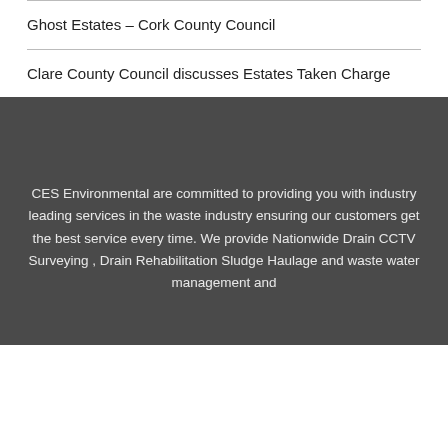Ghost Estates – Cork County Council
Clare County Council discusses Estates Taken Charge
CES Environmental are committed to providing you with industry leading services in the waste industry ensuring our customers get the best service every time. We provide Nationwide Drain CCTV Surveying , Drain Rehabilitation Sludge Haulage and waste water management and